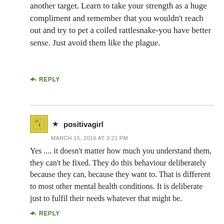another target. Learn to take your strength as a huge compliment and remember that you wouldn't reach out and try to pet a coiled rattlesnake-you have better sense. Just avoid them like the plague.
↳ REPLY
★ positivagirl
MARCH 15, 2016 AT 3:21 PM
Yes .... it doesn't matter how much you understand them, they can't be fixed. They do this behaviour deliberately because they can, because they want to. That is different to most other mental health conditions. It is deliberate just to fulfil their needs whatever that might be.
↳ REPLY